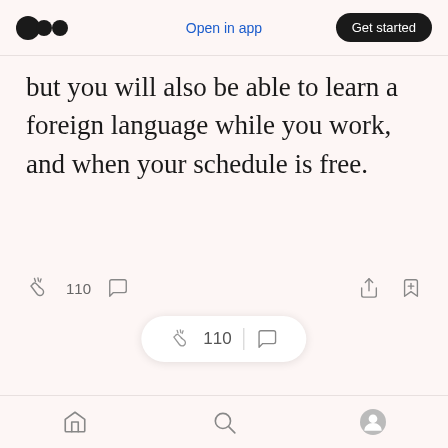Open in app | Get started
but you will also be able to learn a foreign language while you work, and when your schedule is free.
110 [clap icon] [comment icon] [share icon] [bookmark icon]
110 [clap icon] | [comment icon]
Get an email whenever Muqaddas Angela
[home icon] [search icon] [profile icon]